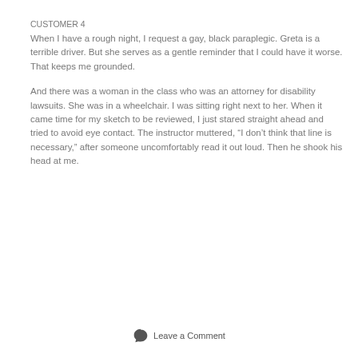CUSTOMER 4
When I have a rough night, I request a gay, black paraplegic. Greta is a terrible driver. But she serves as a gentle reminder that I could have it worse. That keeps me grounded.
And there was a woman in the class who was an attorney for disability lawsuits. She was in a wheelchair. I was sitting right next to her. When it came time for my sketch to be reviewed, I just stared straight ahead and tried to avoid eye contact. The instructor muttered, “I don’t think that line is necessary,” after someone uncomfortably read it out loud. Then he shook his head at me.
Leave a Comment